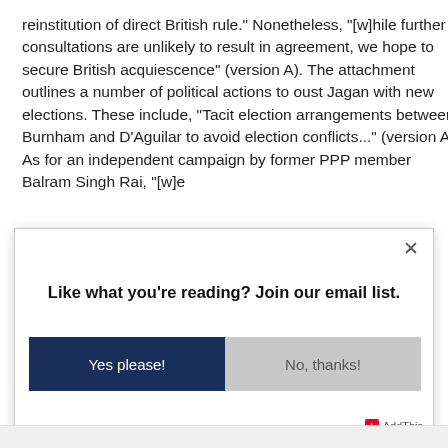reinstitution of direct British rule." Nonetheless, "[w]hile further consultations are unlikely to result in agreement, we hope to secure British acquiescence" (version A). The attachment outlines a number of political actions to oust Jagan with new elections. These include, "Tacit election arrangements between Burnham and D'Aguilar to avoid election conflicts..." (version A). As for an independent campaign by former PPP member Balram Singh Rai, "[w]e
Like what you're reading? Join our email list.
Yes please!
No, thanks!